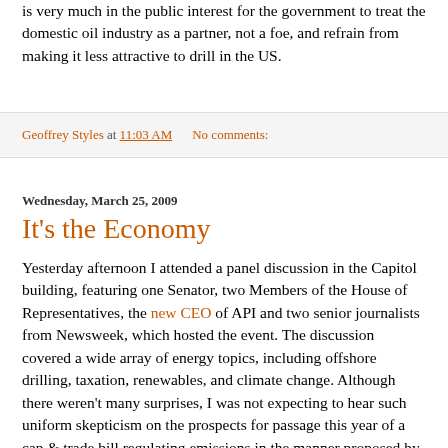is very much in the public interest for the government to treat the domestic oil industry as a partner, not a foe, and refrain from making it less attractive to drill in the US.
Geoffrey Styles at 11:03 AM   No comments:
Wednesday, March 25, 2009
It's the Economy
Yesterday afternoon I attended a panel discussion in the Capitol building, featuring one Senator, two Members of the House of Representatives, the new CEO of API and two senior journalists from Newsweek, which hosted the event. The discussion covered a wide array of energy topics, including offshore drilling, taxation, renewables, and climate change. Although there weren't many surprises, I was not expecting to hear such uniform skepticism on the prospects for passage this year of a cap & trade bill regulating emissions in the manner proposed by President Obama. With the exception of the Honorable Doc Hastings (R, WA), who questioned the contribution of anthropogenic CO2 to